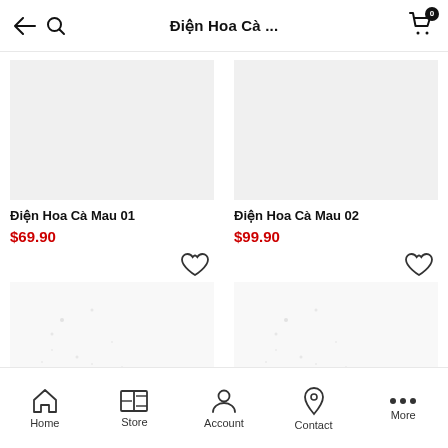Điện Hoa Cà ...
Điện Hoa Cà Mau 01
$69.90
Điện Hoa Cà Mau 02
$99.90
Home | Store | Account | Contact | More